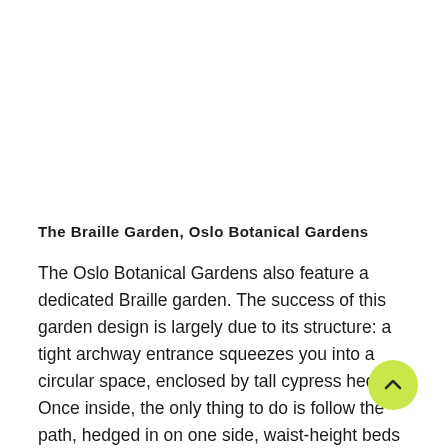The Braille Garden, Oslo Botanical Gardens
The Oslo Botanical Gardens also feature a dedicated Braille garden. The success of this garden design is largely due to its structure: a tight archway entrance squeezes you into a circular space, enclosed by tall cypress hedges. Once inside, the only thing to do is follow the path, hedged in on one side, waist-height beds densely planted with herbs and flowers on the other. The visual design, for once, does not take precedence; the auditory landscape is muted by the